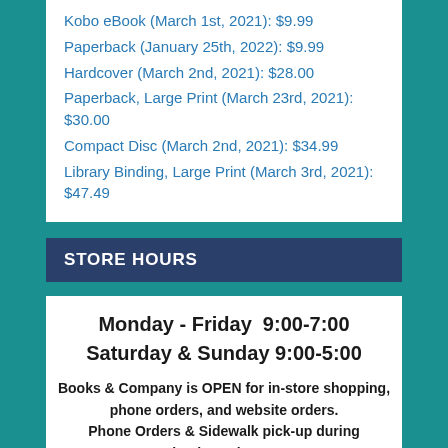Kobo eBook (March 1st, 2021): $9.99
Paperback (January 25th, 2022): $9.99
Hardcover (March 2nd, 2021): $28.00
Paperback, Large Print (March 23rd, 2021): $30.00
Compact Disc (March 2nd, 2021): $34.99
Library Binding, Large Print (March 3rd, 2021): $47.49
STORE HOURS
Monday - Friday  9:00-7:00
Saturday & Sunday 9:00-5:00
Books & Company is OPEN for in-store shopping, phone orders, and website orders. Phone Orders & Sidewalk pick-up during business hours Website orders 24/7.